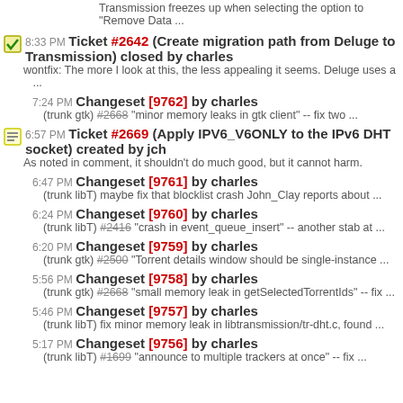Transmission freezes up when selecting the option to "Remove Data ..."
8:33 PM Ticket #2642 (Create migration path from Deluge to Transmission) closed by charles
wontfix: The more I look at this, the less appealing it seems. Deluge uses a ...
7:24 PM Changeset [9762] by charles
(trunk gtk) #2668 "minor memory leaks in gtk client" -- fix two ...
6:57 PM Ticket #2669 (Apply IPV6_V6ONLY to the IPv6 DHT socket) created by jch
As noted in comment, it shouldn't do much good, but it cannot harm.
6:47 PM Changeset [9761] by charles
(trunk libT) maybe fix that blocklist crash John_Clay reports about ...
6:24 PM Changeset [9760] by charles
(trunk libT) #2416 "crash in event_queue_insert" -- another stab at ...
6:20 PM Changeset [9759] by charles
(trunk gtk) #2500 "Torrent details window should be single-instance ...
5:56 PM Changeset [9758] by charles
(trunk gtk) #2668 "small memory leak in getSelectedTorrentIds" -- fix ...
5:46 PM Changeset [9757] by charles
(trunk libT) fix minor memory leak in libtransmission/tr-dht.c, found ...
5:17 PM Changeset [9756] by charles
(trunk libT) #1699 "announce to multiple trackers at once" -- fix ...